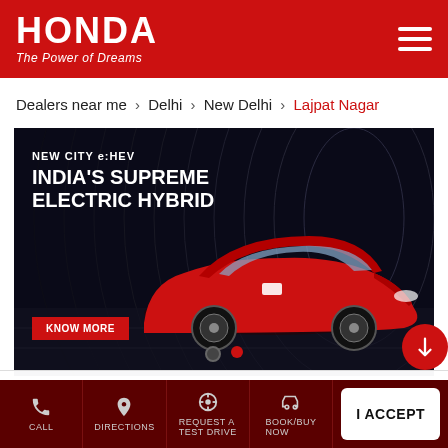[Figure (logo): Honda logo with 'The Power of Dreams' tagline on red header bar]
Dealers near me > Delhi > New Delhi > Lajpat Nagar
[Figure (photo): Honda City e:HEV advertisement banner. Red Honda City car on dark tunnel background with text 'NEW CITY e:HEV INDIA'S SUPREME ELECTRIC HYBRID' and a 'KNOW MORE' button]
Cookie Information
We use cookies to improve your experience on our site and to show the relevant content.
[Figure (screenshot): Bottom navigation bar with CALL, DIRECTIONS, REQUEST A TEST DRIVE, BOOK/BUY NOW, SERVICE icons and I ACCEPT button]